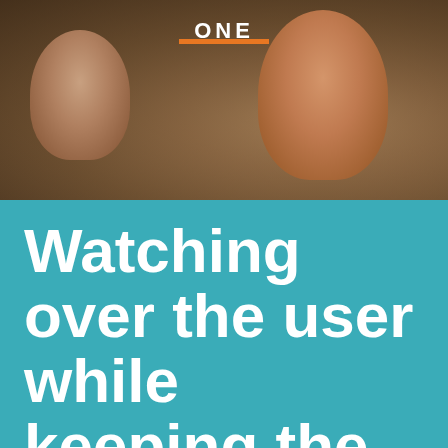[Figure (photo): Close-up photograph of an elderly person smiling, with another person partially visible, warm tones]
ONE
Watching over the user while keeping the